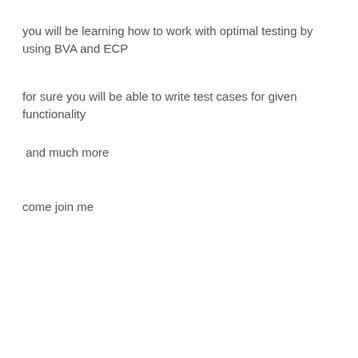you will be learning how to work with optimal testing by using BVA and ECP
for sure you will be able to write test cases for given functionality
and much more
come join me